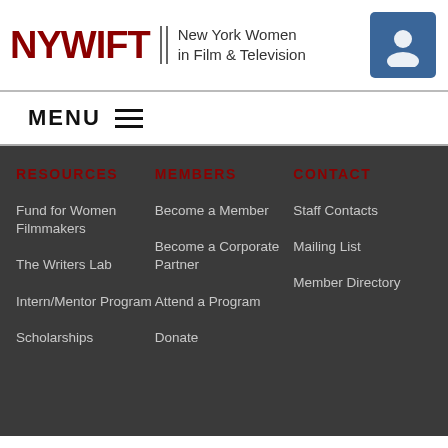NYWIFT | New York Women in Film & Television
MENU
RESOURCES
MEMBERS
CONTACT
Fund for Women Filmmakers
The Writers Lab
Intern/Mentor Program
Scholarships
Become a Member
Become a Corporate Partner
Attend a Program
Donate
Staff Contacts
Mailing List
Member Directory